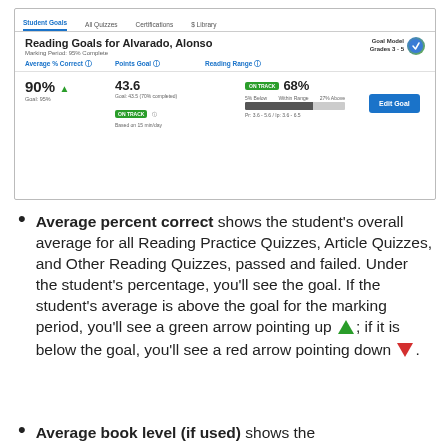[Figure (screenshot): Screenshot of a reading goals interface showing student goals for Alvarado, Alonso. Displays Average % Correct (90%, Goal 95%), Points Goal (43.6, Goal 43.5, 70% completed, ON TRACK), and Reading Range (ON TRACK, 68%, within range bar). An Edit Goal button is shown on the right.]
Average percent correct shows the student's overall average for all Reading Practice Quizzes, Article Quizzes, and Other Reading Quizzes, passed and failed. Under the student's percentage, you'll see the goal. If the student's average is above the goal for the marking period, you'll see a green arrow pointing up; if it is below the goal, you'll see a red arrow pointing down.
Average book level (if used) shows the